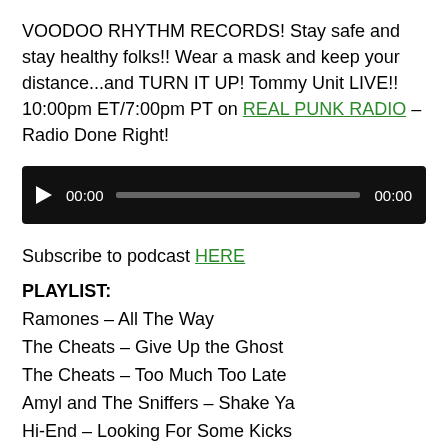VOODOO RHYTHM RECORDS! Stay safe and stay healthy folks!! Wear a mask and keep your distance...and TURN IT UP! Tommy Unit LIVE!! 10:00pm ET/7:00pm PT on REAL PUNK RADIO – Radio Done Right!
[Figure (other): Audio player widget with black background, play button, 00:00 start time, progress bar, and 00:00 end time]
Subscribe to podcast HERE
PLAYLIST:
Ramones – All The Way
The Cheats – Give Up the Ghost
The Cheats – Too Much Too Late
Amyl and The Sniffers – Shake Ya
Hi-End – Looking For Some Kicks
Wasting Time – Sick Inside